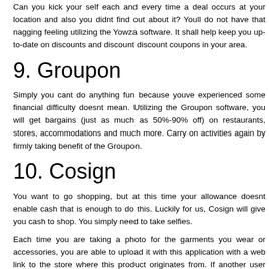Can you kick your self each and every time a deal occurs at your location and also you didnt find out about it? Youll do not have that nagging feeling utilizing the Yowza software. It shall help keep you up-to-date on discounts and discount discount coupons in your area.
9. Groupon
Simply you cant do anything fun because youve experienced some financial difficulty doesnt mean. Utilizing the Groupon software, you will get bargains (just as much as 50%-90% off) on restaurants, stores, accommodations and much more. Carry on activities again by firmly taking benefit of the Groupon.
10. Cosign
You want to go shopping, but at this time your allowance doesnt enable cash that is enough to do this. Luckily for us, Cosign will give you cash to shop. You simply need to take selfies.
Each time you are taking a photo for the garments you wear or accessories, you are able to upload it with this application with a web link to the store where this product originates from. If another user clicks on your photo and purchases the item, you obtain a payment check between 3%-20% from the cost. Take as many selfies as you possibly can to pad your pocket.
Apps will make a big difference when you wish to save cash. In case you need extra help making ends fulfill, simply just take a payday and attempt to get the spending plan in order.